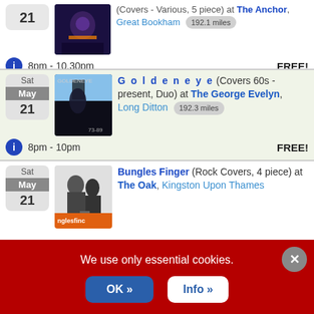(Covers - Various, 5 piece) at The Anchor, Great Bookham 192.1 miles — 8pm - 10.30pm FREE! Sat May 21
Goldeneye (Covers 60s - present, Duo) at The George Evelyn, Long Ditton 192.3 miles — 8pm - 10pm FREE! Sat May 21
Bungles Finger (Rock Covers, 4 piece) at The Oak, Kingston Upon Thames — Sat May 21
We use only essential cookies.